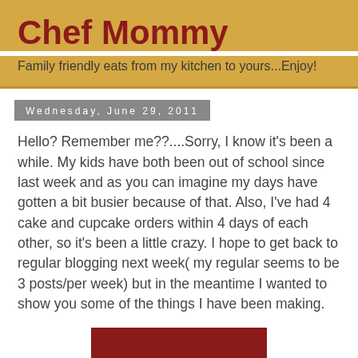Chef Mommy
Family friendly eats from my kitchen to yours...Enjoy!
Wednesday, June 29, 2011
Hello? Remember me??....Sorry, I know it's been a while. My kids have both been out of school since last week and as you can imagine my days have gotten a bit busier because of that. Also, I've had 4 cake and cupcake orders within 4 days of each other, so it's been a little crazy. I hope to get back to regular blogging next week( my regular seems to be 3 posts/per week) but in the meantime I wanted to show you some of the things I have been making.
[Figure (photo): Dark red/maroon colored image block, partially visible at the bottom of the page]